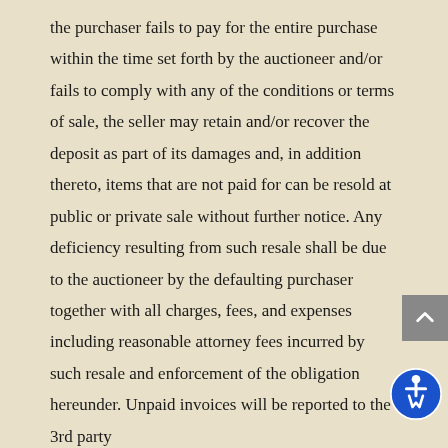the purchaser fails to pay for the entire purchase within the time set forth by the auctioneer and/or fails to comply with any of the conditions or terms of sale, the seller may retain and/or recover the deposit as part of its damages and, in addition thereto, items that are not paid for can be resold at public or private sale without further notice. Any deficiency resulting from such resale shall be due to the auctioneer by the defaulting purchaser together with all charges, fees, and expenses including reasonable attorney fees incurred by such resale and enforcement of the obligation hereunder. Unpaid invoices will be reported to the 3rd party